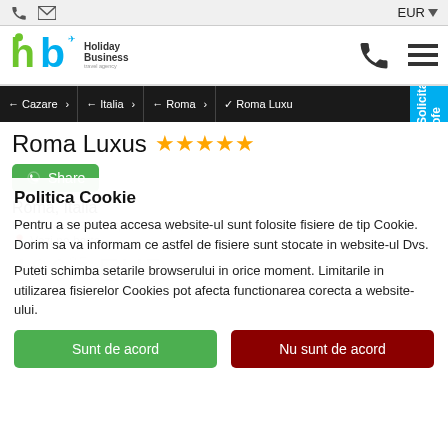EUR ▼
[Figure (logo): Holiday Business Travel Agency logo with green and blue letters 'hb' and airplane icon]
← Cazare > ← Italia > ← Roma > ✔ Roma Luxu...
Roma Luxus ★★★★★
Share
Roma, Italia
LARGO ANGELICUM, 4, ROMA, IT
Politica Cookie
Pentru a se putea accesa website-ul sunt folosite fisiere de tip Cookie. Dorim sa va informam ce astfel de fisiere sunt stocate in website-ul Dvs.
Puteti schimba setarile browserului in orice moment. Limitarile in utilizarea fisierelor Cookies pot afecta functionarea corecta a website-ului.
Sunt de acord
Nu sunt de acord